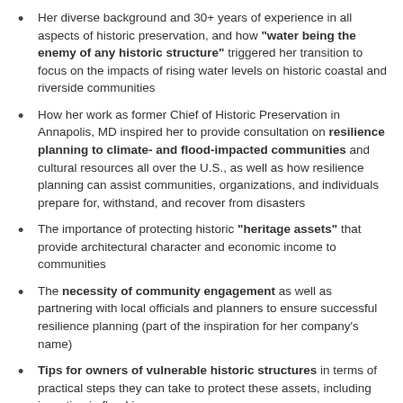Her diverse background and 30+ years of experience in all aspects of historic preservation, and how "water being the enemy of any historic structure" triggered her transition to focus on the impacts of rising water levels on historic coastal and riverside communities
How her work as former Chief of Historic Preservation in Annapolis, MD inspired her to provide consultation on resilience planning to climate- and flood-impacted communities and cultural resources all over the U.S., as well as how resilience planning can assist communities, organizations, and individuals prepare for, withstand, and recover from disasters
The importance of protecting historic "heritage assets" that provide architectural character and economic income to communities
The necessity of community engagement as well as partnering with local officials and planners to ensure successful resilience planning (part of the inspiration for her company's name)
Tips for owners of vulnerable historic structures in terms of practical steps they can take to protect these assets, including investing in flood insurance